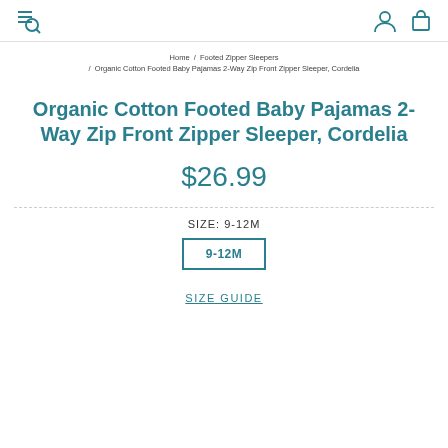Navigation header with search/menu icon, user icon, and cart icon
Home / Footed Zipper Sleepers / Organic Cotton Footed Baby Pajamas 2-Way Zip Front Zipper Sleeper, Cordelia
Organic Cotton Footed Baby Pajamas 2-Way Zip Front Zipper Sleeper, Cordelia
$26.99
SIZE: 9-12M
9-12M
SIZE GUIDE